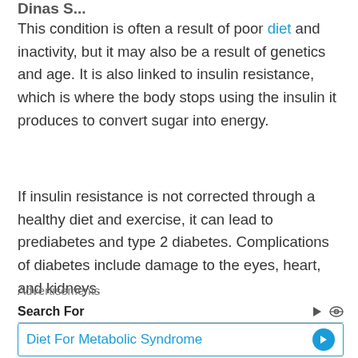This condition is often a result of poor diet and inactivity, but it may also be a result of genetics and age. It is also linked to insulin resistance, which is where the body stops using the insulin it produces to convert sugar into energy.
If insulin resistance is not corrected through a healthy diet and exercise, it can lead to prediabetes and type 2 diabetes. Complications of diabetes include damage to the eyes, heart, and kidneys.
Advertisements
Search For
Diet For Metabolic Syndrome